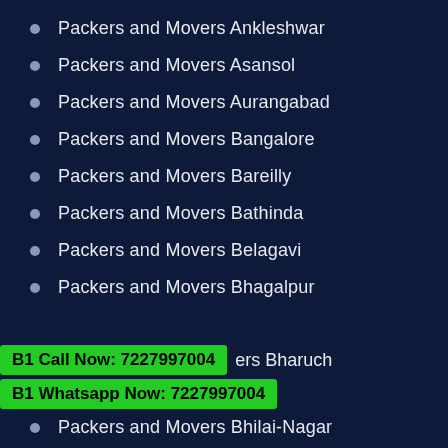Packers and Movers Ankleshwar
Packers and Movers Asansol
Packers and Movers Aurangabad
Packers and Movers Bangalore
Packers and Movers Bareilly
Packers and Movers Bathinda
Packers and Movers Belagavi
Packers and Movers Bhagalpur
B1 Call Now: 7227997004
Packers and Movers Bharuch
B1 Whatsapp Now: 7227997004
Packers and Movers Bhilai-Nagar